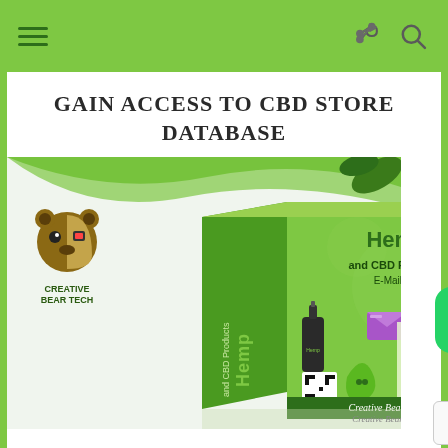Navigation header with hamburger menu, share icon, and search icon
GAIN ACCESS TO CBD STORE DATABASE
[Figure (illustration): Product box image for Hemp and CBD Products E-Mail List by Creative Bear Tech, showing a 3D box with hemp oil bottle, green leaf, envelope/email icon, CSV file icon, QR code, and text 'Perfect for Newsletter and e-mail marketing'. Creative Bear Tech logo with bear character on the left side.]